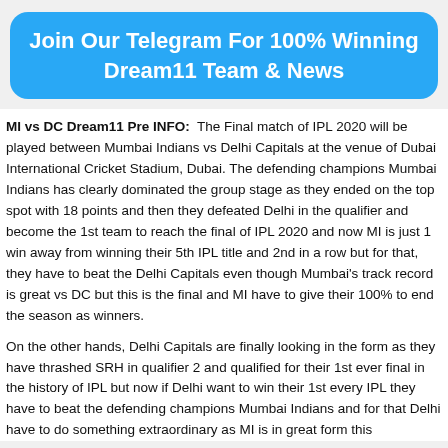Join Our Telegram For 100% Winning Dream11 Team & News
MI vs DC Dream11 Pre INFO: The Final match of IPL 2020 will be played between Mumbai Indians vs Delhi Capitals at the venue of Dubai International Cricket Stadium, Dubai. The defending champions Mumbai Indians has clearly dominated the group stage as they ended on the top spot with 18 points and then they defeated Delhi in the qualifier and become the 1st team to reach the final of IPL 2020 and now MI is just 1 win away from winning their 5th IPL title and 2nd in a row but for that, they have to beat the Delhi Capitals even though Mumbai's track record is great vs DC but this is the final and MI have to give their 100% to end the season as winners.
On the other hands, Delhi Capitals are finally looking in the form as they have thrashed SRH in qualifier 2 and qualified for their 1st ever final in the history of IPL but now if Delhi want to win their 1st every IPL they have to beat the defending champions Mumbai Indians and for that Delhi have to do something extraordinary as MI is in great form this